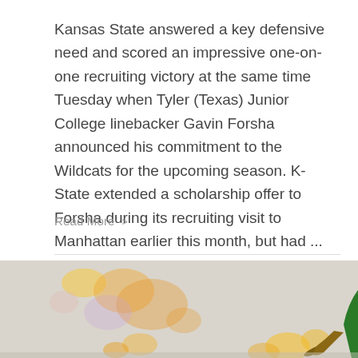Kansas State answered a key defensive need and scored an impressive one-on-one recruiting victory at the same time Tuesday when Tyler (Texas) Junior College linebacker Gavin Forsha announced his commitment to the Wildcats for the upcoming season. K-State extended a scholarship offer to Forsha during its recruiting visit to Manhattan earlier this month, but had ...
Read More >
[Figure (photo): A hurling player wearing a green and yellow jersey with a white helmet celebrating, holding a hurley stick, with blurred colorful bokeh in the background. Text 'ROUP' partially visible on jersey.]